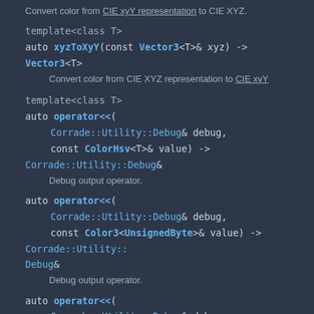Convert color from CIE xyY representation to CIE XYZ.
template<class T>
auto xyzToXyY(const Vector3<T>& xyz) -> Vector3<T>
Convert color from CIE XYZ representation to CIE xyY
template<class T>
auto operator<<(
    Corrade::Utility::Debug& debug,
    const ColorHsv<T>& value) -> Corrade::Utility::Debug&
Debug output operator.
auto operator<<(
    Corrade::Utility::Debug& debug,
    const Color3<UnsignedByte>& value) -> Corrade::Utility::Debug&
Debug output operator.
auto operator<<(
    Corrade::Utility::Debug& debug,
    const Color4<UnsignedByte>& value) -> Corrade::Utility::Debug&
Debug output operator.
template<class T>